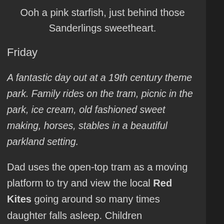Ooh a pink starfish, just behind those Sanderlings sweetheart.
Friday
A fantastic day out at a 19th century theme park. Family rides on the tram, picnic in the park, ice cream, old fashioned sweet making, horses, stables in a beautiful parkland setting.
Dad uses the open-top tram as a moving platform to try and view the local Red Kites going around so many times daughter falls asleep. Children